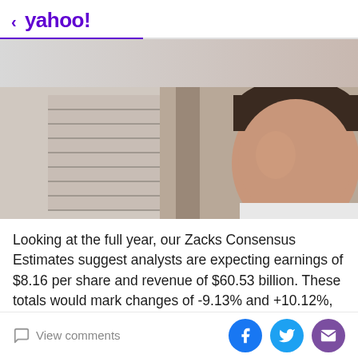< yahoo!
[Figure (photo): Business man in an office setting, partial face visible on right side, out-of-focus office background]
Looking at the full year, our Zacks Consensus Estimates suggest analysts are expecting earnings of $8.16 per share and revenue of $60.53 billion. These totals would mark changes of -9.13% and +10.12%, respectively, from last year.
Investors might also notice recent changes to analyst
View comments